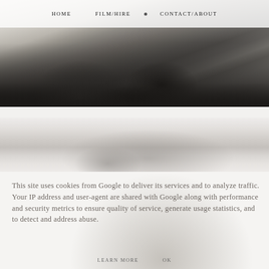[Figure (photo): Black and white photo of person's legs wearing white sneakers and dark pants, stepping on rocky ground, viewed from low angle with cloudy sky]
HOME   FILM/HIRE   CONTACT/ABOUT
[Figure (photo): Black and white photo showing a misty/cloudy landscape, lower portion with what appears to be a person in hat partially visible]
This site uses cookies from Google to deliver its services and to analyze traffic. Your IP address and user-agent are shared with Google along with performance and security metrics to ensure quality of service, generate usage statistics, and to detect and address abuse.
LEARN MORE
OK